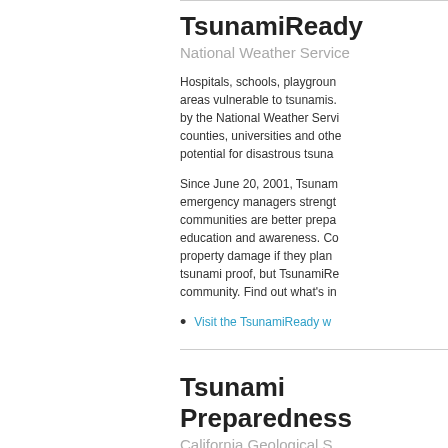TsunamiReady
National Weather Service
Hospitals, schools, playgrounds and areas vulnerable to tsunamis. by the National Weather Service counties, universities and other potential for disastrous tsunar
Since June 20, 2001, Tsunami emergency managers strength communities are better prepa education and awareness. Co property damage if they plan tsunami proof, but TsunamiRe community. Find out what's in
Visit the TsunamiReady w
Tsunami Preparedness
California Geological S